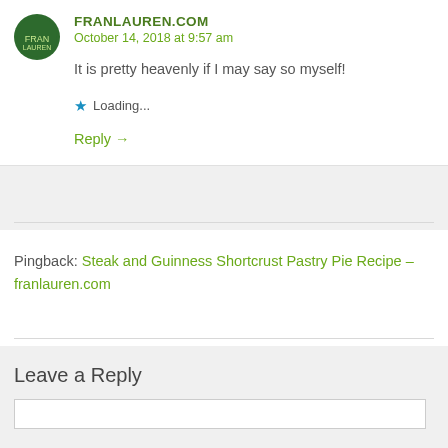FRANLAUREN.COM
October 14, 2018 at 9:57 am
It is pretty heavenly if I may say so myself!
Loading...
Reply →
Pingback: Steak and Guinness Shortcrust Pastry Pie Recipe – franlauren.com
Leave a Reply